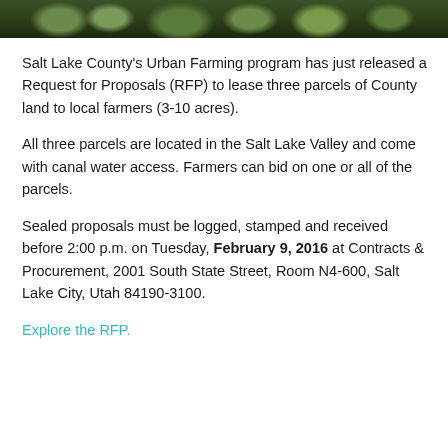[Figure (photo): Photograph strip of green leafy vegetable plants growing in soil, viewed from above.]
Salt Lake County's Urban Farming program has just released a Request for Proposals (RFP) to lease three parcels of County land to local farmers (3-10 acres).
All three parcels are located in the Salt Lake Valley and come with canal water access. Farmers can bid on one or all of the parcels.
Sealed proposals must be logged, stamped and received before 2:00 p.m. on Tuesday, February 9, 2016 at Contracts & Procurement, 2001 South State Street, Room N4-600, Salt Lake City, Utah 84190-3100.
Explore the RFP.